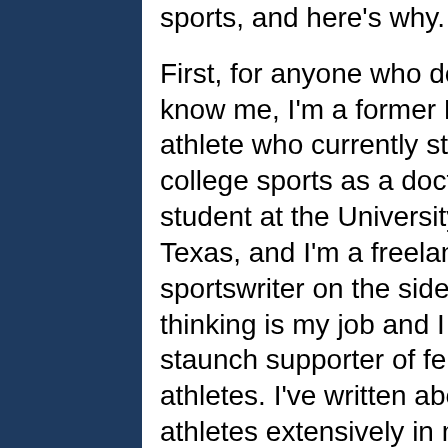sports, and here's why.

First, for anyone who doesn't know me, I'm a former D1 athlete who currently studies college sports as a doctoral student at the University of Texas, and I'm a freelance sportswriter on the side. Critical thinking is my job and I am a staunch supporter of female athletes. I've written about trans athletes extensively in my academic work, but never publicly. It's touchy and I don't appreciate the highly emotive responses I get from people or being harassed or having my credibility attacked. But it's irresponsible of me, I believe, to not apply my expertise here. So here's a free, well-researched,
This website uses cookies to ensure you get the best experience on our website.
Got it!